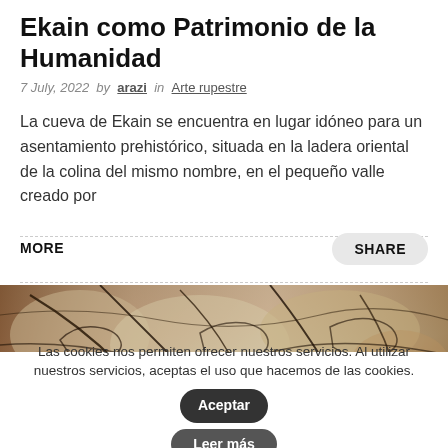Ekain como Patrimonio de la Humanidad
7 July, 2022  by arazi  in  Arte rupestre
La cueva de Ekain se encuentra en lugar idóneo para un asentamiento prehistórico, situada en la ladera oriental de la colina del mismo nombre, en el pequeño valle creado por
MORE
SHARE
[Figure (photo): Cave wall with prehistoric rock art paintings showing outlines of animals, with brown, grey and white stone surface and dark crack lines.]
Las cookies nos permiten ofrecer nuestros servicios. Al utilizar nuestros servicios, aceptas el uso que hacemos de las cookies. Aceptar
Leer más